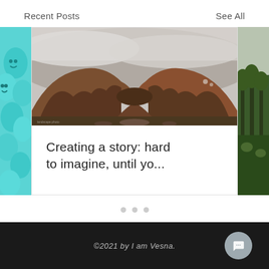Recent Posts
See All
[Figure (photo): Left side card partially visible: teal/cyan smiley face balloons]
[Figure (photo): Center card: panoramic landscape photo of autumn forest hills covered in orange/red trees with misty fog and clouds overhead]
Creating a story: hard to imagine, until yo...
[Figure (photo): Right side card partially visible: dark green forest/tree scene]
©2021 by I am Vesna.